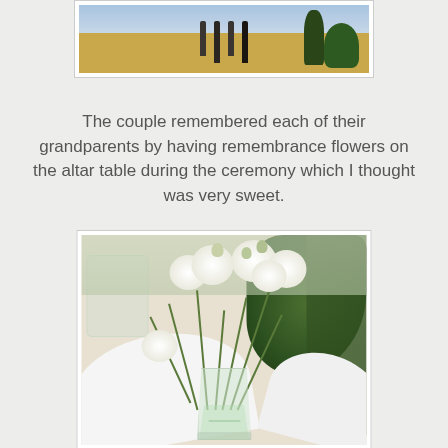[Figure (photo): Partial top photo showing an outdoor ceremony scene with people standing on sandy/dirt ground with trees and bushes in background, partially cropped at top]
The couple remembered each of their grandparents by having remembrance flowers on the altar table during the ceremony which I thought was very sweet.
[Figure (photo): Photo of white ranunculus flowers in a clear glass vase sitting on a white-cloth covered table outdoors, with green foliage in the background]